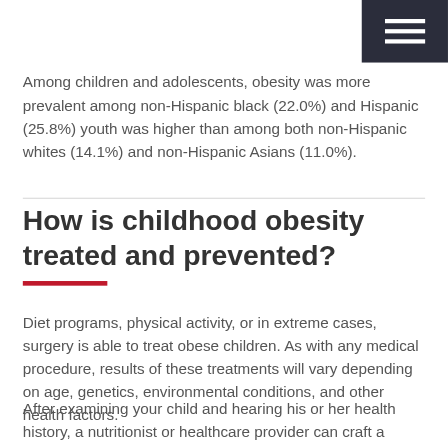[Figure (other): Dark navy hamburger menu icon in top-right corner navigation bar]
Among children and adolescents, obesity was more prevalent among non-Hispanic black (22.0%) and Hispanic (25.8%) youth was higher than among both non-Hispanic whites (14.1%) and non-Hispanic Asians (11.0%).
How is childhood obesity treated and prevented?
Diet programs, physical activity, or in extreme cases, surgery is able to treat obese children. As with any medical procedure, results of these treatments will vary depending on age, genetics, environmental conditions, and other health factors.
After examining your child and hearing his or her health history, a nutritionist or healthcare provider can craft a custom diet for your obese child, or to simply encourage healthy eating by: